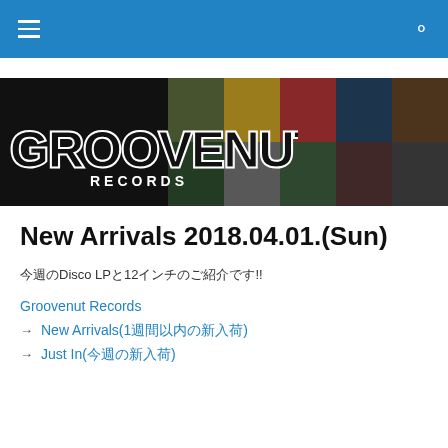Groovenut Records navigation bar with hamburger menu and search icon
[Figure (illustration): Groovenut Records banner with album covers grid on right side and white outlined GROOVENUT RECORDS logo text on black background]
New Arrivals 2018.04.01.(Sun)
今週のDisco LPと12インチのご紹介です!!
Groovenut Records
→ New Arrivals(1週間以内の新入荷)
→ Just In(今週の新入荷)